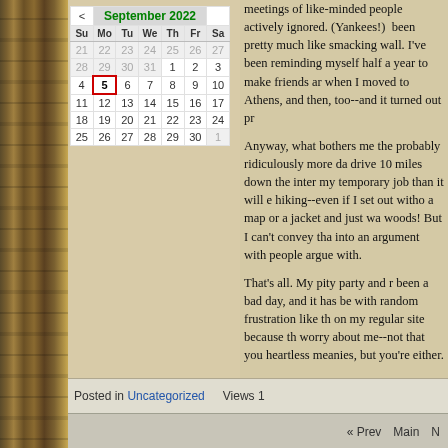| Su | Mo | Tu | We | Th | Fr | Sa |
| --- | --- | --- | --- | --- | --- | --- |
| 21 | 22 | 23 | 24 | 25 | 26 | 27 |
| 28 | 29 | 30 | 31 | 1 | 2 | 3 |
| 4 | 5 | 6 | 7 | 8 | 9 | 10 |
| 11 | 12 | 13 | 14 | 15 | 16 | 17 |
| 18 | 19 | 20 | 21 | 22 | 23 | 24 |
| 25 | 26 | 27 | 28 | 29 | 30 | 1 |
meetings of like-minded people actively ignored. (Yankees!) been pretty much like smacking wall. I've been reminding myself half a year to make friends and when I moved to Athens, and then, too--and it turned out pretty...
Anyway, what bothers me the probably ridiculously more da drive 10 miles down the interstate my temporary job than it will be hiking--even if I set out without a map or a jacket and just went into the woods! But I can't convey that into an argument with people I argue with.
That's all. My pity party and rant. It's been a bad day, and it has been filled with random frustration like this. I'm not on my regular site because they don't worry about me--not that you're heartless meanies, but you're strangers either.
Posted in Uncategorized   Views 1
« Prev   Main   M